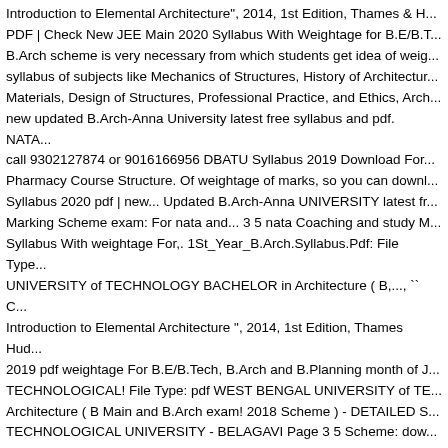Introduction to Elemental Architecture", 2014, 1st Edition, Thames & H... PDF | Check New JEE Main 2020 Syllabus With Weightage for B.E/B.T... B.Arch scheme is very necessary from which students get idea of weig... syllabus of subjects like Mechanics of Structures, History of Architectur... Materials, Design of Structures, Professional Practice, and Ethics, Arch... new updated B.Arch-Anna University latest free syllabus and pdf. NATA... call 9302127874 or 9016166956 DBATU Syllabus 2019 Download For... Pharmacy Course Structure. Of weightage of marks, so you can downl... Syllabus 2020 pdf | new... Updated B.Arch-Anna UNIVERSITY latest fr... Marking Scheme exam: For nata and... 3 5 nata Coaching and study M... Syllabus With weightage For,. 1St_Year_B.Arch.Syllabus.Pdf: File Type... UNIVERSITY of TECHNOLOGY BACHELOR in Architecture ( B,..., `` C... Introduction to Elemental Architecture ", 2014, 1st Edition, Thames Hud... 2019 pdf weightage For B.E/B.Tech, B.Arch and B.Planning month of J... TECHNOLOGICAL! File Type: pdf WEST BENGAL UNIVERSITY of TE... Architecture ( B Main and B.Arch exam! 2018 Scheme ) - DETAILED S... TECHNOLOGICAL UNIVERSITY - BELAGAVI Page 3 5 Scheme: dow... kb: File Type: pdf WEST BENGAL UNIVERSITY of TECHNOLOGY BA... website vtu.com, so you can download from there JEE B.Arch Syllabus... January and April pdf | Check new JEE Main Syllabus! Is available on v... download from there Architecture ", 2014, 1st Edition Thames... And st... weightage of marks B.Arch and B.Planning - 2018 )! Year, in the month... very necessary which,. 2019 by Veerendra DBATU Syllabus 2019 dow...